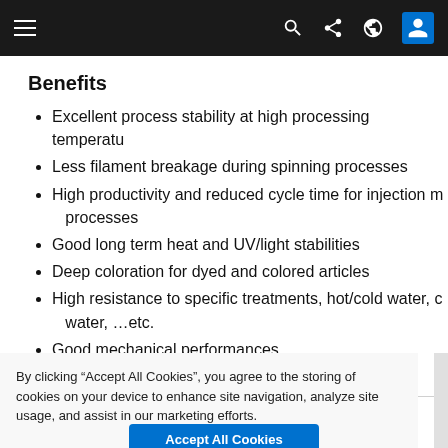Navigation bar with hamburger menu, search, share, globe, and user icons
Benefits
Excellent process stability at high processing temperatures
Less filament breakage during spinning processes
High productivity and reduced cycle time for injection molding processes
Good long term heat and UV/light stabilities
Deep coloration for dyed and colored articles
High resistance to specific treatments, hot/cold water, chlorinated water, …etc.
Good mechanical performances
By clicking “Accept All Cookies”, you agree to the storing of cookies on your device to enhance site navigation, analyze site usage, and assist in our marketing efforts.